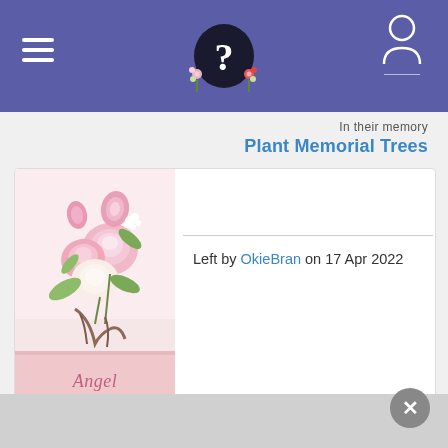Navigation bar with hamburger menu, logo, and user icon
In their memory
Plant Memorial Trees
[Figure (illustration): A pink bookmark illustration with roses and pink flowers at the top and 'Angel Day Blessings' text written in cursive at the bottom on a pink ribbon background.]
Left by OkieBran on 17 Apr 2022